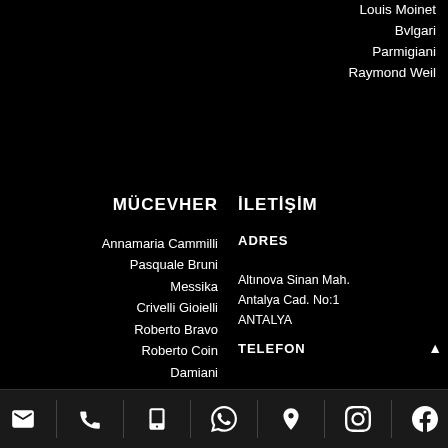Louis Moinet
Bvlgari
Parmigiani
Raymond Weil
MÜCEVHER
İLETİŞİM
Annamaria Cammilli
Pasquale Bruni
Messika
Crivelli Gioielli
Roberto Bravo
Roberto Coin
Damiani
ADRES
Altınova Sinan Mah.
Antalya Cad. No:1
ANTALYA
TELEFON
[Figure (infographic): Bottom navigation icon bar with 7 icons: envelope/email, phone, mobile phone, WhatsApp, map pin/location, Instagram, Facebook, separated by vertical dividers on dark background]